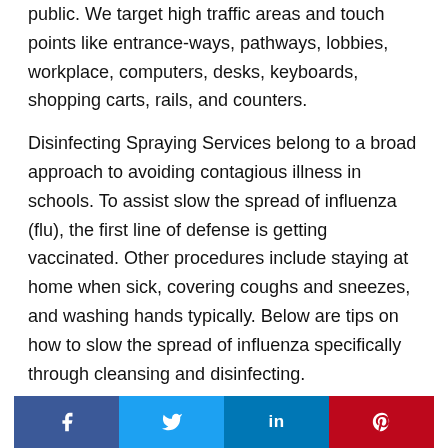public. We target high traffic areas and touch points like entrance-ways, pathways, lobbies, workplace, computers, desks, keyboards, shopping carts, rails, and counters.
Disinfecting Spraying Services belong to a broad approach to avoiding contagious illness in schools. To assist slow the spread of influenza (flu), the first line of defense is getting vaccinated. Other procedures include staying at home when sick, covering coughs and sneezes, and washing hands typically. Below are tips on how to slow the spread of influenza specifically through cleansing and disinfecting.
[Figure (other): Social media share buttons: Facebook (blue), Twitter (light blue), LinkedIn (blue), Pinterest (red)]
What is the process to get started?